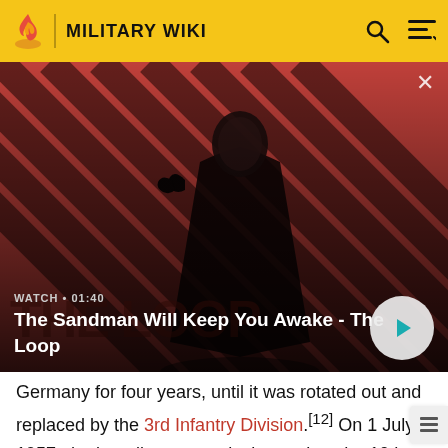MILITARY WIKI
[Figure (screenshot): Video thumbnail showing a dark-cloaked figure with a raven on their shoulder against a red and black diagonal striped background. Overlay shows 'WATCH • 01:40' and title 'The Sandman Will Keep You Awake - The Loop' with a play button.]
Germany for four years, until it was rotated out and replaced by the 3rd Infantry Division.[12] On 1 July 1957, the battalion was redesignated as the 10th Administrative Company.[3] However, the company moved with the division to Fort Benning, Georgia, and was deactivated on 14 June 1958.[4]